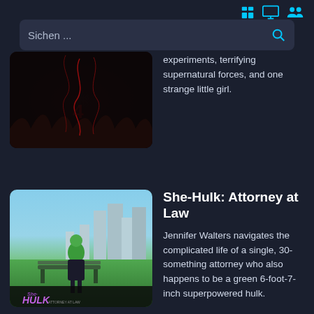Sichen ...
experiments, terrifying supernatural forces, and one strange little girl.
[Figure (photo): Thumbnail for Stranger Things - dark poster with red/dark tones]
She-Hulk: Attorney at Law
Jennifer Walters navigates the complicated life of a single, 30-something attorney who also happens to be a green 6-foot-7-inch superpowered hulk.
[Figure (photo): She-Hulk: Attorney at Law movie poster - green woman in park setting with HULK logo]